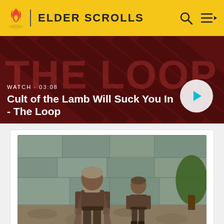ELDER SCROLLS
[Figure (screenshot): Video banner showing Cult of the Lamb promotional image with red/dark striped background and cartoon character mascot. White play button circle on right side.]
WATCH · 03:08
Cult of the Lamb Will Suck You In - The Loop
[Figure (screenshot): In-game screenshot from Elder Scrolls showing two Alik'r Warrior characters standing on a cobblestone path with stone walls and trees in background.]
QUEST GIVER    Alik'r Warrior
LOCATION